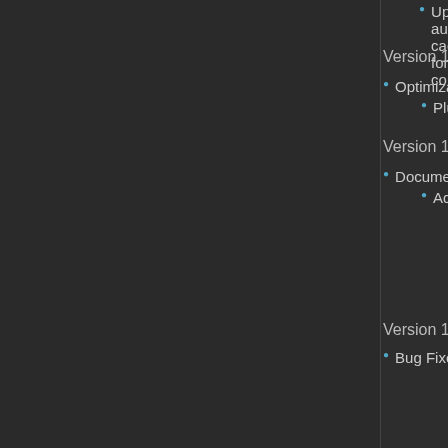Updated automatic caching for cond...
Version 1.19: June 4, 2021
Optimization Update!
Plugin should run more optimized.
Version 1.18: May 21, 2021
Documentation Update
Added "Passive State Clarification" s...
As there is a lot of confusion rega... the "Passive State Notetags" sec... section to explain how they work.
All three sections will contain the about them.
Version 1.17: May 7, 2021
Bug Fixes